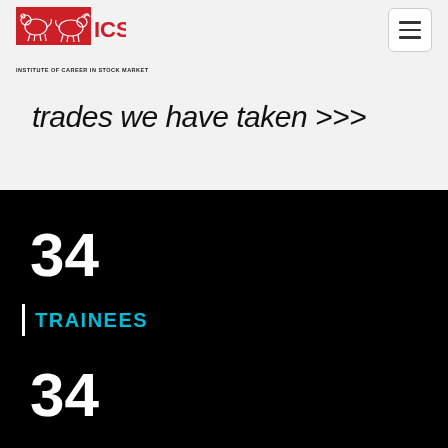[Figure (logo): ICSM - Institute of Career in Stock Market logo with red background and bull/bear silhouettes]
trades we have taken >>>
34
TRAINEES
34